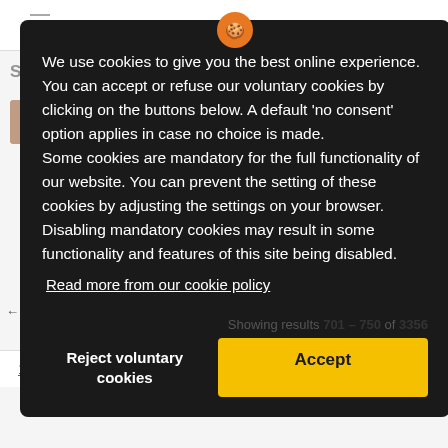We use cookies to give you the best online experience. You can accept or refuse our voluntary cookies by clicking on the buttons below. A default 'no consent' option applies in case no choice is made.
Some cookies are mandatory for the full functionality of our website. You can prevent the setting of these cookies by adjusting the settings on your browser. Disabling mandatory cookies may result in some functionality and features of this site being disabled.
Read more from our cookie policy
Showing results 701 – 750 of 3356
Reject voluntary cookies
Accept